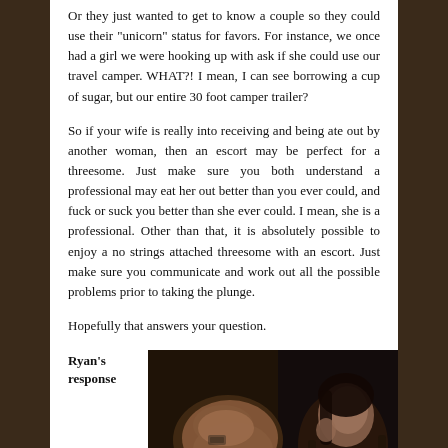Or they just wanted to get to know a couple so they could use their "unicorn" status for favors. For instance, we once had a girl we were hooking up with ask if she could use our travel camper. WHAT?! I mean, I can see borrowing a cup of sugar, but our entire 30 foot camper trailer?
So if your wife is really into receiving and being ate out by another woman, then an escort may be perfect for a threesome. Just make sure you both understand a professional may eat her out better than you ever could, and fuck or suck you better than she ever could. I mean, she is a professional. Other than that, it is absolutely possible to enjoy a no strings attached threesome with an escort. Just make sure you communicate and work out all the possible problems prior to taking the plunge.
Hopefully that answers your question.
Ryan's response
[Figure (photo): A photo of a woman in a dimly lit scene with money scattered around.]